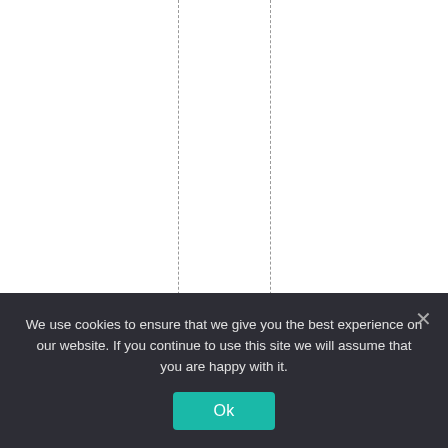appended very rapidly
We use cookies to ensure that we give you the best experience on our website. If you continue to use this site we will assume that you are happy with it.
Ok